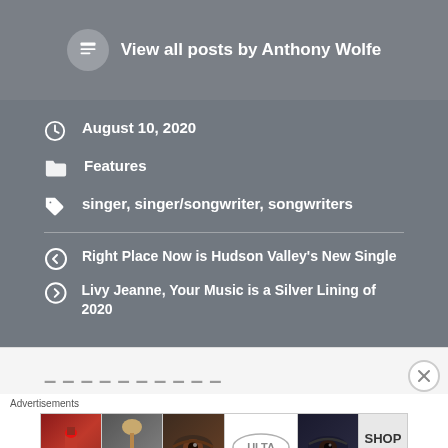View all posts by Anthony Wolfe
August 10, 2020
Features
singer, singer/songwriter, songwriters
Right Place Now is Hudson Valley's New Single
Livy Jeanne, Your Music is a Silver Lining of 2020
Advertisements
[Figure (screenshot): Ulta Beauty advertisement banner with makeup imagery and SHOP NOW text]